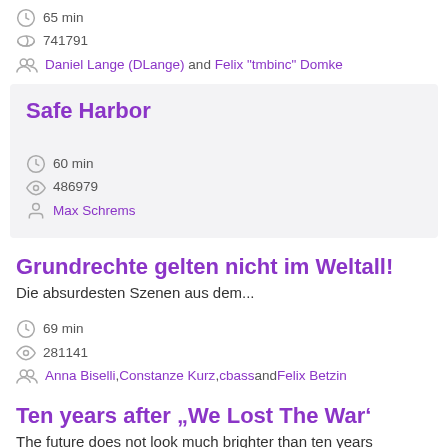65 min
741791
Daniel Lange (DLange) and Felix "tmbinc" Domke
Safe Harbor
60 min
486979
Max Schrems
Grundrechte gelten nicht im Weltall!
Die absurdesten Szenen aus dem...
69 min
281141
Anna Biselli, Constanze Kurz, cbass and Felix Betzin
Ten years after „We Lost The War‘
The future does not look much brighter than ten years